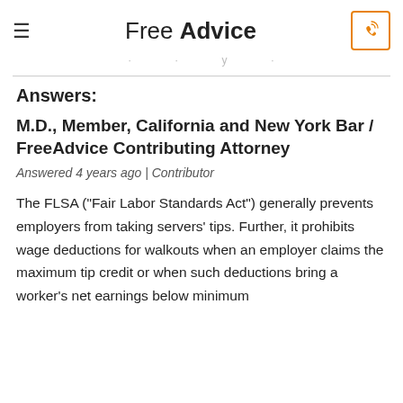Free Advice
· · · · y · · ·
Answers:
M.D., Member, California and New York Bar / FreeAdvice Contributing Attorney
Answered 4 years ago | Contributor
The FLSA ("Fair Labor Standards Act") generally prevents employers from taking servers' tips. Further, it prohibits wage deductions for walkouts when an employer claims the maximum tip credit or when such deductions bring a worker's net earnings below minimum